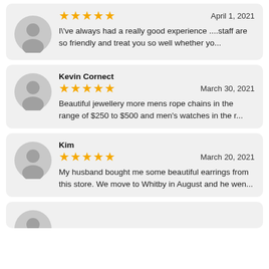[Figure (other): Review card 1: 5 stars, date April 1, 2021, text: I've always had a really good experience ....staff are so friendly and treat you so well whether yo...]
[Figure (other): Review card 2: Reviewer Kevin Cornect, 5 stars, date March 30, 2021, text: Beautiful jewellery more mens rope chains in the range of $250 to $500 and men's watches in the r...]
[Figure (other): Review card 3: Reviewer Kim, 5 stars, date March 20, 2021, text: My husband bought me some beautiful earrings from this store. We move to Whitby in August and he wen...]
[Figure (other): Review card 4: partial/cropped at bottom of page]